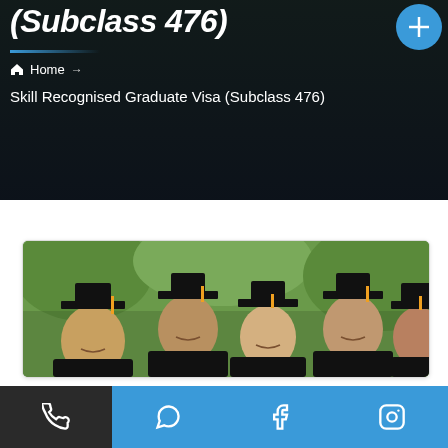(Subclass 476)
Home → Skill Recognised Graduate Visa (Subclass 476)
Skill Recognised Graduate Visa (Subclass 476)
[Figure (photo): Four university graduates in black graduation gowns and mortarboards smiling, outdoors with green trees in background]
Phone | WhatsApp | Facebook | Instagram